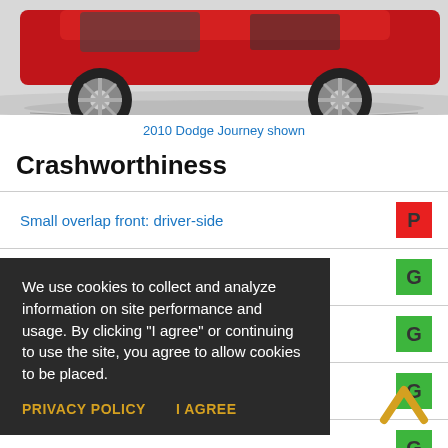[Figure (photo): Partial view of a red Dodge Journey SUV on a white/grey background, showing wheels and lower body]
2010 Dodge Journey shown
Crashworthiness
| Test | Rating |
| --- | --- |
| Small overlap front: driver-side | P |
| Moderate overlap front | G |
|  | G |
|  | G |
|  | G |
We use cookies to collect and analyze information on site performance and usage. By clicking "I agree" or continuing to use the site, you agree to allow cookies to be placed.
PRIVACY POLICY
I AGREE